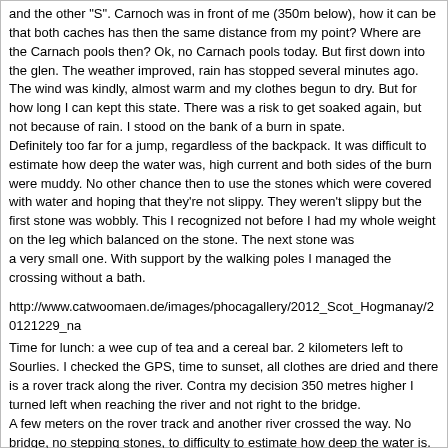and the other "S". Carnoch was in front of me (350m below), how it can be that both caches has then the same distance from my point? Where are the Carnach pools then? Ok, no Carnach pools today. But first down into the glen. The weather improved, rain has stopped several minutes ago. The wind was kindly, almost warm and my clothes begun to dry. But for how long I can kept this state. There was a risk to get soaked again, but not because of rain. I stood on the bank of a burn in spate.
Definitely too far for a jump, regardless of the backpack. It was difficult to estimate how deep the water was, high current and both sides of the burn were muddy. No other chance then to use the stones which were covered with water and hoping that they're not slippy. They weren't slippy but the first stone was wobbly. This I recognized not before I had my whole weight on the leg which balanced on the stone. The next stone was
a very small one. With support by the walking poles I managed the crossing without a bath.
http://www.catwoomaen.de/images/phocagallery/2012_Scot_Hogmanay/20121229_na
Time for lunch: a wee cup of tea and a cereal bar. 2 kilometers left to Sourlies. I checked the GPS, time to sunset, all clothes are dried and there is a rover track along the river. Contra my decision 350 metres higher I turned left when reaching the river and not right to the bridge.
A few meters on the rover track and another river crossed the way. No bridge, no stepping stones, to difficulty to estimate how deep the water is. Doesn't matter. I have to cross the river, today or tomorrow when I want to find the geocache. I left the track and look for something similar to a ford, the one where the track crossed seems too deep even for the wellies.
All was fine until the last step before leaving the water. Suddenly I felt water in my left boot, because the trouser was in the wellies and so it was tight the boot was not full with water. After the crossing no need to pull off the wellies.
The rover track degraded. More bumps, mud, bog holes, puddles, little burns to cross. But the most time old tyre marks were visible. Why a car drive along here? It wasn't a comfortable walk, the meters on the GPS which give the distance decrease so slow. Then I was near the geocache hide and with the backpack I climb down to the bank and search for a little plastic box in a camouflage bag. I looked here, there and everywhere.
The arrow jump here, there and everywhere. 2m, 3m, 5m, 2m, 8m. WHERE IS